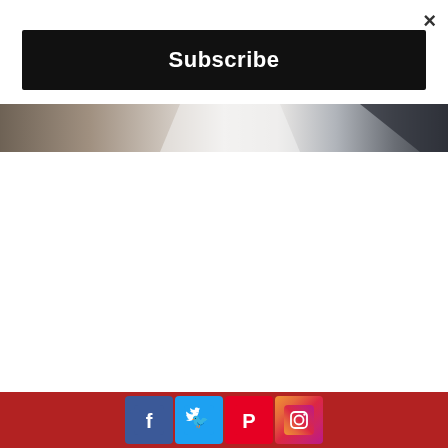×
Subscribe
[Figure (photo): Partial image strip showing a blurred scene with light and dark tones]
[Figure (infographic): Red footer bar with social media icons: Facebook (blue), Twitter (light blue), Pinterest (red), Instagram (gradient)]